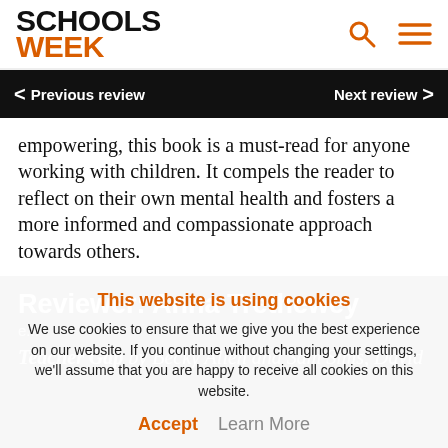[Figure (logo): Schools Week logo with SCHOOLS in black bold and WEEK in orange bold]
< Previous review    Next review >
empowering, this book is a must-read for anyone working with children. It compels the reader to reflect on their own mental health and fosters a more informed and compassionate approach towards others.
Reviewer: Anna Trethewey
This website is using cookies
We use cookies to ensure that we give you the best experience on our website. If you continue without changing your settings, we'll assume that you are happy to receive all cookies on this website.
Accept  Learn More
Teacher Gap by Becky Allen and Sam Sims, David